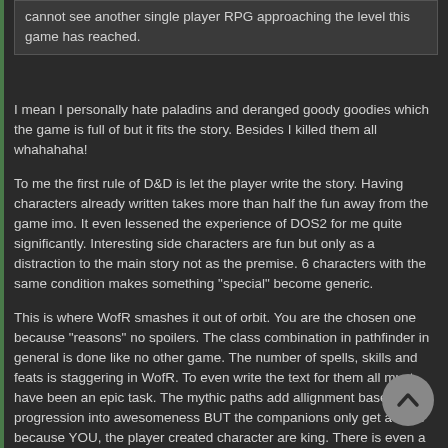cannot see another single player RPG approaching the level this game has reached.
I mean I personally hate paladins and deranged goody goodies which the game is full of but it fits the story. Besides I killed them all whahahaha!
To me the first rule of D&D is let the player write the story. Having characters already written takes more than half the fun away from the game imo. It even lessened the experience of DOS2 for me quite significantly. Interesting side characters are fun but only as a distraction to the main story not as the premise. 6 characters with the same condition makes something "special" become generic.
This is where WofR smashes it out of orbit. You are the chosen one because "reasons" no spoilers. The class combination in pathfinder in general is done like no other game. The number of spells, skills and feats is staggering in WofR. To even write the text for them all must have been an epic task. The mythic paths add allignment based progression into awesomeness BUT the companions only get a taste because YOU, the player created character are king. There is even a bloody might and magic game thrown in as a campaign map? I said it earlier but honestly you cannot compare BG3 and WotR as the games are too disimilar.